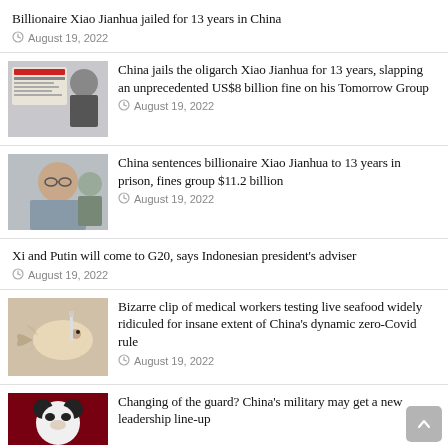Billionaire Xiao Jianhua jailed for 13 years in China — August 19, 2022
China jails the oligarch Xiao Jianhua for 13 years, slapping an unprecedented US$8 billion fine on his Tomorrow Group — August 19, 2022
China sentences billionaire Xiao Jianhua to 13 years in prison, fines group $11.2 billion — August 19, 2022
Xi and Putin will come to G20, says Indonesian president's adviser — August 19, 2022
Bizarre clip of medical workers testing live seafood widely ridiculed for insane extent of China's dynamic zero-Covid rule — August 19, 2022
Changing of the guard? China's military may get a new leadership line-up